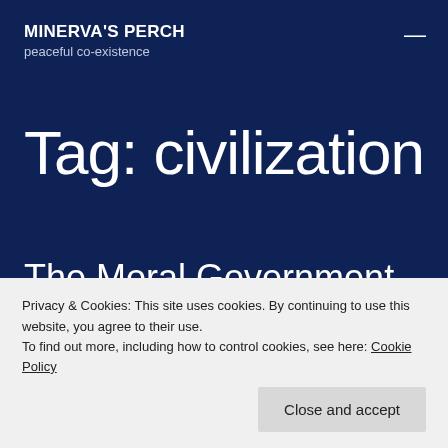MINERVA'S PERCH
peaceful co-existence
Tag: civilization
The Moral Government of the
Privacy & Cookies: This site uses cookies. By continuing to use this website, you agree to their use.
To find out more, including how to control cookies, see here: Cookie Policy
message to the world, notable because it is one of